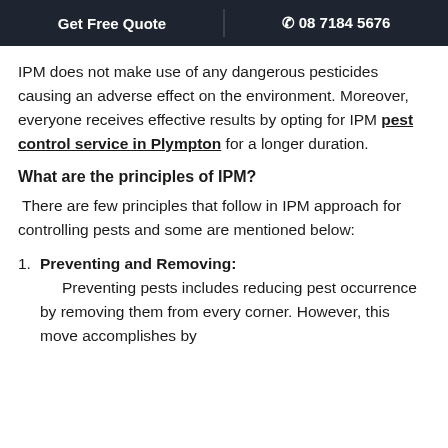Get Free Quote  |  ☎ 08 7184 5676
IPM does not make use of any dangerous pesticides causing an adverse effect on the environment. Moreover, everyone receives effective results by opting for IPM pest control service in Plympton for a longer duration.
What are the principles of IPM?
There are few principles that follow in IPM approach for controlling pests and some are mentioned below:
Preventing and Removing: Preventing pests includes reducing pest occurrence by removing them from every corner. However, this move accomplishes by